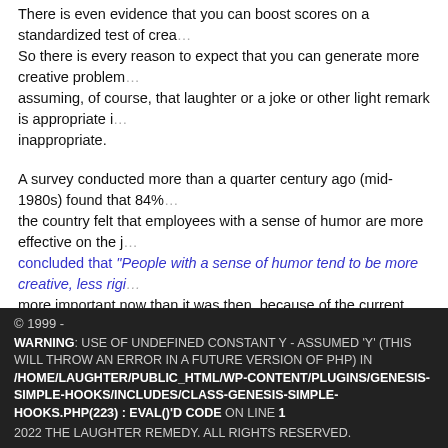There is even evidence that you can boost scores on a standardized test of creativity by first inducing laughter. So there is every reason to expect that you can generate more creative problem solutions in the workplace, assuming, of course, that laughter or a joke or other light remark is appropriate in the situation — as opposed to inappropriate.
A survey conducted more than a quarter century ago (mid-1980s) found that 84% of executives across the country felt that employees with a sense of humor are more effective on the job. One study concluded that “People with a sense of humor tend to be more creative, less rigid” This is even more important now than it was then, because of the current rapid rate of change.
So hiring new people who show some evidence of good humor skills is one way of doing it. But you can also equip employees you already have with tools (like my 7 Humor Habits Training Program).
FILED UNDER: HUMOR IN THE WORKPLACE
© 1999 - WARNING: USE OF UNDEFINED CONSTANT Y - ASSUMED 'Y' (THIS WILL THROW AN ERROR IN A FUTURE VERSION OF PHP) IN /HOME/LAUGHTER/PUBLIC_HTML/WP-CONTENT/PLUGINS/GENESIS-SIMPLE-HOOKS/INCLUDES/CLASS-GENESIS-SIMPLE-HOOKS.PHP(223) : EVAL()'D CODE ON LINE 1 2022 THE LAUGHTER REMEDY. ALL RIGHTS RESERVED.